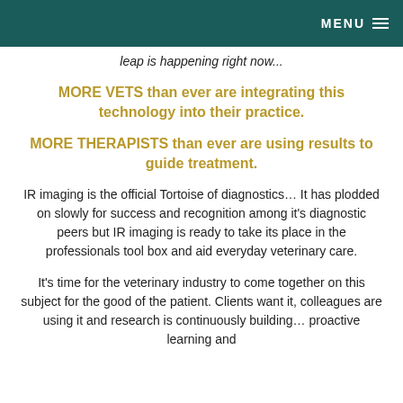MENU
leap is happening right now...
MORE VETS than ever are integrating this technology into their practice.
MORE THERAPISTS than ever are using results to guide treatment.
IR imaging is the official Tortoise of diagnostics… It has plodded on slowly for success and recognition among it's diagnostic peers but IR imaging is ready to take its place in the professionals tool box and aid everyday veterinary care.
It's time for the veterinary industry to come together on this subject for the good of the patient. Clients want it, colleagues are using it and research is continuously building… proactive learning and